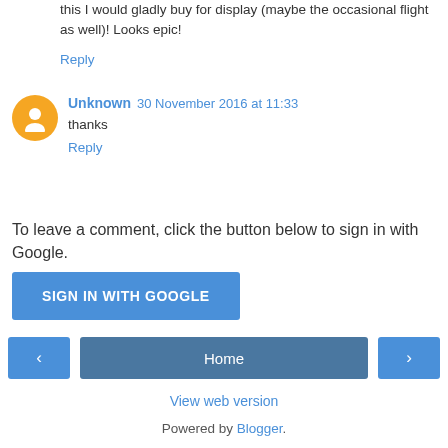this I would gladly buy for display (maybe the occasional flight as well)! Looks epic!
Reply
Unknown 30 November 2016 at 11:33
thanks
Reply
To leave a comment, click the button below to sign in with Google.
SIGN IN WITH GOOGLE
Home
View web version
Powered by Blogger.